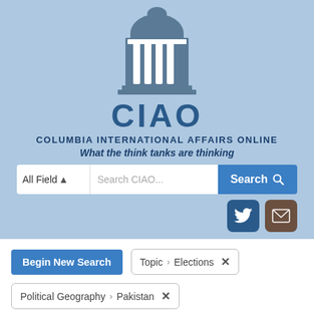[Figure (logo): CIAO (Columbia International Affairs Online) logo with a building/dome icon above the text CIAO]
CIAO
COLUMBIA INTERNATIONAL AFFAIRS ONLINE
What the think tanks are thinking
[Figure (screenshot): Search bar with All Fields dropdown, Search CIAO... input, and Search button with magnifying glass icon]
[Figure (infographic): Twitter and email social media icons]
Begin New Search
Topic > Elections ×
Political Geography > Pakistan ×
Journal > South Asian Studies ×
Publication Year > within 10 Years ×